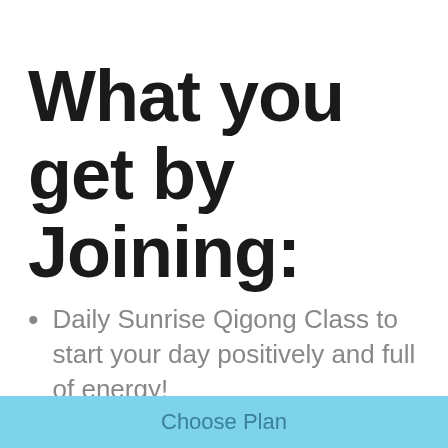What you get by Joining:
Daily Sunrise Qigong Class to start your day positively and full of energy!
A tribe of healers and teachers that you can grow and network with
Choose Plan